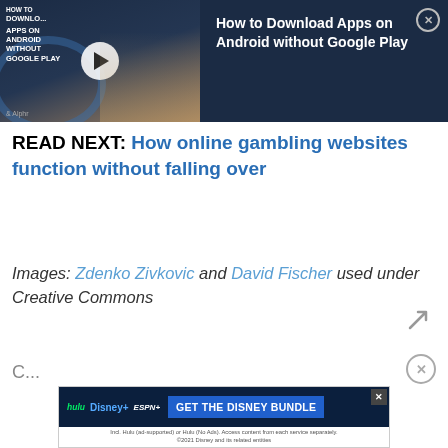[Figure (screenshot): Video thumbnail banner for 'How to Download Apps on Android without Google Play' with a dark navy background, play button, and a woman in an orange jacket. Title displayed on right side in white text. Close X button in top right corner.]
READ NEXT: How online gambling websites function without falling over
Images: Zdenko Zivkovic and David Fischer used under Creative Commons
[Figure (screenshot): Disney Bundle advertisement banner showing Hulu, Disney+, ESPN+ logos and 'GET THE DISNEY BUNDLE' call to action button. Footer text: Incl. Hulu (ad-supported) or Hulu (No Ads). Access content from each service separately. ©2021 Disney and its related entities]